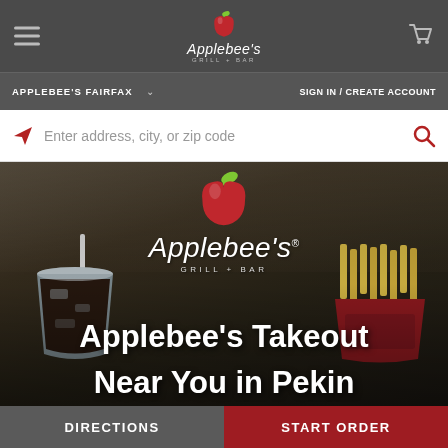Applebee's navigation bar with hamburger menu, Applebee's Grill + Bar logo, and cart icon
APPLEBEE'S FAIRFAX ∨   SIGN IN / CREATE ACCOUNT
Enter address, city, or zip code
[Figure (screenshot): Applebee's Takeout hero banner with food items (drink and fries), Applebee's Grill + Bar logo overlay, and hero text 'Applebee's Takeout Near You in Pekin']
DIRECTIONS   START ORDER